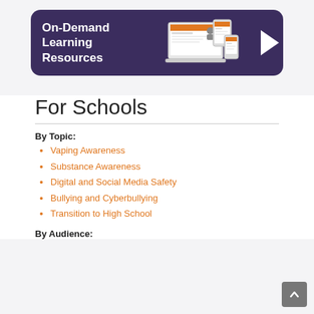[Figure (illustration): On-Demand Learning Resources banner with purple background, device screenshots (laptop, tablet, phone), and a white right-pointing arrow]
For Schools
By Topic:
Vaping Awareness
Substance Awareness
Digital and Social Media Safety
Bullying and Cyberbullying
Transition to High School
By Audience: